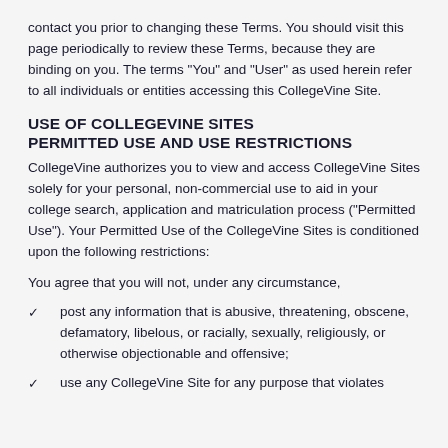contact you prior to changing these Terms. You should visit this page periodically to review these Terms, because they are binding on you. The terms "You" and "User" as used herein refer to all individuals or entities accessing this CollegeVine Site.
USE OF COLLEGEVINE SITES
PERMITTED USE AND USE RESTRICTIONS
CollegeVine authorizes you to view and access CollegeVine Sites solely for your personal, non-commercial use to aid in your college search, application and matriculation process ("Permitted Use"). Your Permitted Use of the CollegeVine Sites is conditioned upon the following restrictions:
You agree that you will not, under any circumstance,
post any information that is abusive, threatening, obscene, defamatory, libelous, or racially, sexually, religiously, or otherwise objectionable and offensive;
use any CollegeVine Site for any purpose that violates